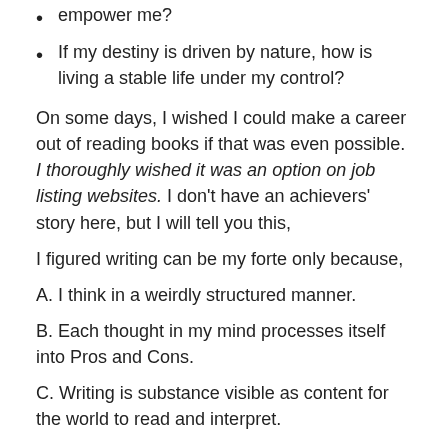empower me?
If my destiny is driven by nature, how is living a stable life under my control?
On some days, I wished I could make a career out of reading books if that was even possible. I thoroughly wished it was an option on job listing websites. I don't have an achievers' story here, but I will tell you this,
I figured writing can be my forte only because,
A. I think in a weirdly structured manner.
B. Each thought in my mind processes itself into Pros and Cons.
C. Writing is substance visible as content for the world to read and interpret.